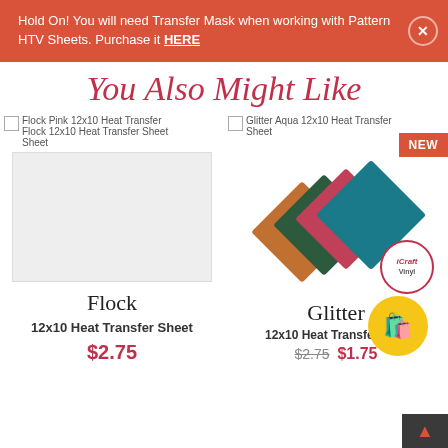Hold On! You will need Transfer Mask when working with Pattern HTV Sheets. Purchase it HERE
You Also Might Like
Flock Pink 12x10 Heat Transfer Flock 12x10 Heat Transfer Sheet
[Figure (photo): Light grey/white blank flock heat transfer sheet product image]
Glitter Aqua 12x10 Heat Transfer Sheet
[Figure (photo): Four overlapping diamond-shaped glitter heat transfer sheets in orange, dark green, pink, and teal colors]
Flock
12x10 Heat Transfer Sheet
$2.75
Glitter
12x10 Heat Transfer Sh...
$2.75  $1.75